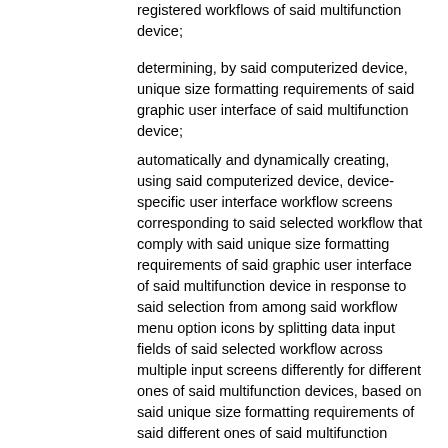registered workflows of said multifunction device;
determining, by said computerized device, unique size formatting requirements of said graphic user interface of said multifunction device;
automatically and dynamically creating, using said computerized device, device-specific user interface workflow screens corresponding to said selected workflow that comply with said unique size formatting requirements of said graphic user interface of said multifunction device in response to said selection from among said workflow menu option icons by splitting data input fields of said selected workflow across multiple input screens differently for different ones of said multifunction devices, based on said unique size formatting requirements of said different ones of said multifunction devices, to collect workflow data through said multifunction device, said workflow data including input values flagged as to be provided through multiple input scans from said scanning device of said multifunction device, such that said different ones of said multifunction devices with different screen sizes display the same data input fields of said selected workflow split differently among different input screens that include a "next" button to move to subsequent ones of said different